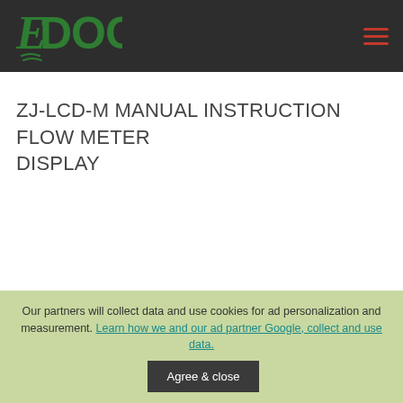EDOC
ZJ-LCD-M MANUAL INSTRUCTION FLOW METER DISPLAY
Our partners will collect data and use cookies for ad personalization and measurement. Learn how we and our ad partner Google, collect and use data.
Agree & close